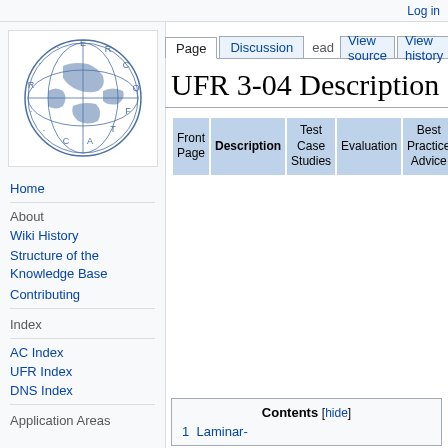Log in
[Figure (logo): ERCOFTAC globe/world map logo with letters around the circular border]
Home
About
Wiki History
Structure of the Knowledge Base
Contributing
Index
AC Index
UFR Index
DNS Index
Application Areas
Page | Discussion | ead | View source | View history | Search K
UFR 3-04 Description
| Front Page | Description | Test Case Studies | Evaluation | Best Practice Advice | Re... |
| --- | --- | --- | --- | --- | --- |
|  |
Contents [hide]
1 Laminar-